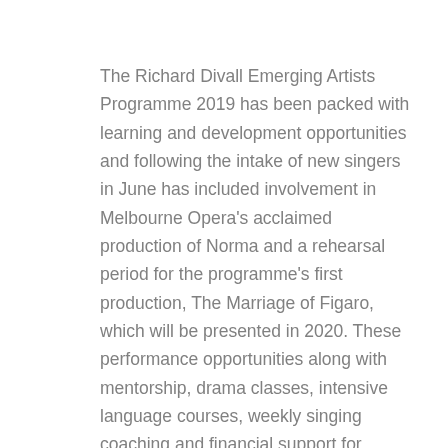The Richard Divall Emerging Artists Programme 2019 has been packed with learning and development opportunities and following the intake of new singers in June has included involvement in Melbourne Opera's acclaimed production of Norma and a rehearsal period for the programme's first production, The Marriage of Figaro, which will be presented in 2020. These performance opportunities along with mentorship, drama classes, intensive language courses, weekly singing coaching and financial support for singing lessons demonstrates the Richard Divall Emerging Artists Programme's significant contribution to opera as the most relevant, forward thinking performance-ready opera training